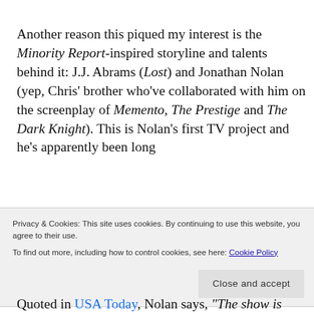Another reason this piqued my interest is the Minority Report-inspired storyline and talents behind it: J.J. Abrams (Lost) and Jonathan Nolan (yep, Chris' brother who've collaborated with him on the screenplay of Memento, The Prestige and The Dark Knight). This is Nolan's first TV project and he's apparently been long
Privacy & Cookies: This site uses cookies. By continuing to use this website, you agree to their use. To find out more, including how to control cookies, see here: Cookie Policy
Close and accept
Quoted in USA Today, Nolan says, “The show is